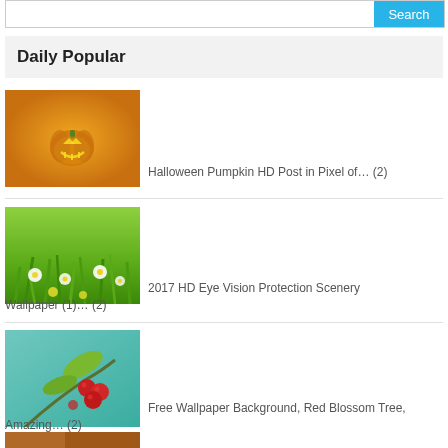[Figure (screenshot): Search bar with text input and blue Search button]
Daily Popular
[Figure (photo): Halloween pumpkin on orange background]
Halloween Pumpkin HD Post in Pixel of… (2)
[Figure (photo): Green grass field with white daisy flowers]
2017 HD Eye Vision Protection Scenery Wallpaper (1)… (2)
[Figure (photo): Red berries on a branch with green leaves against teal background]
Free Wallpaper Background, Red Blossom Tree, Amazing… (2)
[Figure (photo): Partial image at bottom, orange/brown tones]